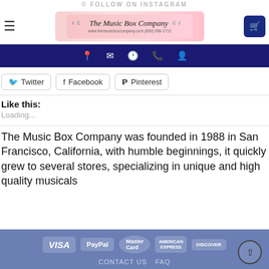© FOLLOW ON INSTAGRAM
[Figure (logo): The Music Box Company logo with musical notes, website www.themusicboxcompany.com and phone (800) 588-1712]
[Figure (infographic): Dark blue navigation bar with icons: location pin, envelope, clock, phone, person]
[Figure (infographic): Social share buttons: Twitter, Facebook, Pinterest]
Like this:
Loading...
The Music Box Company was founded in 1988 in San Francisco, California, with humble beginnings, it quickly grew to several stores, specializing in unique and high quality musicals
VISA PayPal MasterCard AMERICAN EXPRESS DISCOVER | CONTACT US  FAQ